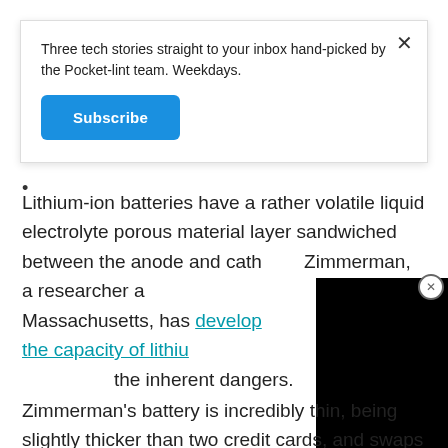Three tech stories straight to your inbox hand-picked by the Pocket-lint team. Weekdays.
Subscribe
Lithium-ion batteries have a rather volatile liquid electrolyte porous material layer sandwiched between the anode and cathode. Zimmerman, a researcher at Massachusetts, has developed a double the capacity of lithium the inherent dangers.
Zimmerman's battery is incredibly thin, being slightly thicker than two credit cards, and swaps out the